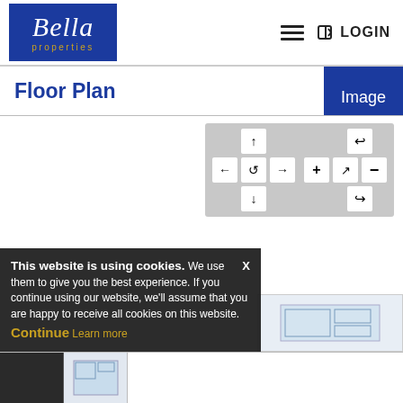[Figure (logo): Bella Properties logo — blue rectangle with italic white 'Bella' script and gold 'properties' text beneath]
☰  ➔ LOGIN
Floor Plan
[Figure (screenshot): Floor plan viewer interface with navigation controls (arrows, zoom, rotate buttons) on a grey panel, and a partially visible floor plan image. A cookie consent banner overlays the lower left with text: 'This website is using cookies. We use them to give you the best experience. If you continue using our website, we'll assume that you are happy to receive all cookies on this website. Continue  Learn more'. An 'Image' button tab is in the upper right. A thumbnail strip is partially visible at the bottom.]